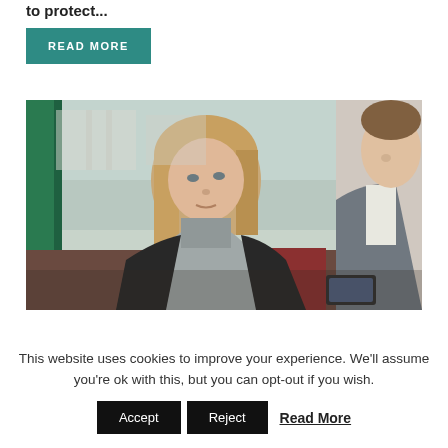to protect...
READ MORE
[Figure (photo): Two people sitting on a bus or tram. A woman with long blonde hair wearing a grey turtleneck and black leather jacket looks out the window. A man in a grey suit is visible on the right holding a smartphone.]
This website uses cookies to improve your experience. We'll assume you're ok with this, but you can opt-out if you wish.
Accept
Reject
Read More